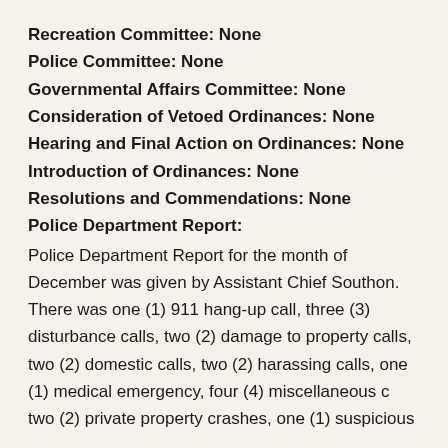Recreation Committee: None
Police Committee: None
Governmental Affairs Committee: None
Consideration of Vetoed Ordinances: None
Hearing and Final Action on Ordinances: None
Introduction of Ordinances: None
Resolutions and Commendations: None
Police Department Report:
Police Department Report for the month of December was given by Assistant Chief Southon. There was one (1) 911 hang-up call, three (3) disturbance calls, two (2) damage to property calls, two (2) domestic calls, two (2) harassing calls, one (1) medical emergency, four (4) miscellaneous c two (2) private property crashes, one (1) suspicious